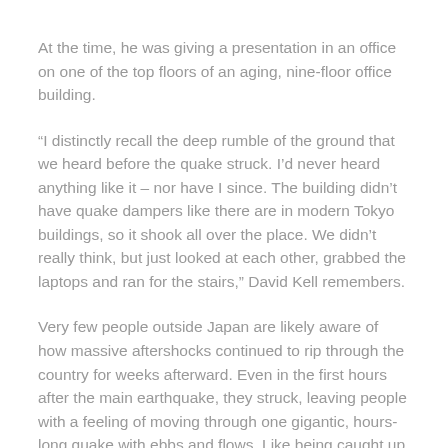At the time, he was giving a presentation in an office on one of the top floors of an aging, nine-floor office building.
“I distinctly recall the deep rumble of the ground that we heard before the quake struck. I’d never heard anything like it – nor have I since. The building didn’t have quake dampers like there are in modern Tokyo buildings, so it shook all over the place. We didn’t really think, but just looked at each other, grabbed the laptops and ran for the stairs,” David Kell remembers.
Very few people outside Japan are likely aware of how massive aftershocks continued to rip through the country for weeks afterward. Even in the first hours after the main earthquake, they struck, leaving people with a feeling of moving through one gigantic, hours-long quake with ebbs and flows. Like being caught up in ocean swells.